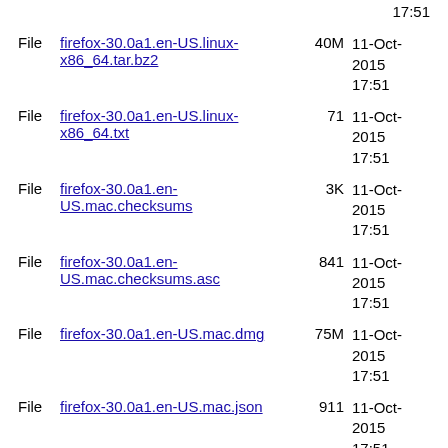File firefox-30.0a1.en-US.linux-x86_64.tar.bz2 40M 11-Oct-2015 17:51
File firefox-30.0a1.en-US.linux-x86_64.txt 71 11-Oct-2015 17:51
File firefox-30.0a1.en-US.mac.checksums 3K 11-Oct-2015 17:51
File firefox-30.0a1.en-US.mac.checksums.asc 841 11-Oct-2015 17:51
File firefox-30.0a1.en-US.mac.dmg 75M 11-Oct-2015 17:51
File firefox-30.0a1.en-US.mac.json 911 11-Oct-2015 17:51
File firefox-30.0a1.en-US.mac.txt 71 11-Oct-2015 17:51
File firefox-30.0a1.en-US.win32.checksums 4K 11-Oct-2015 (partial)